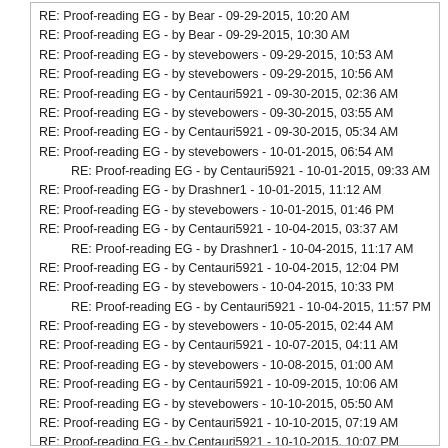RE: Proof-reading EG - by Bear - 09-29-2015, 10:20 AM
RE: Proof-reading EG - by Bear - 09-29-2015, 10:30 AM
RE: Proof-reading EG - by stevebowers - 09-29-2015, 10:53 AM
RE: Proof-reading EG - by stevebowers - 09-29-2015, 10:56 AM
RE: Proof-reading EG - by Centauri5921 - 09-30-2015, 02:36 AM
RE: Proof-reading EG - by stevebowers - 09-30-2015, 03:55 AM
RE: Proof-reading EG - by Centauri5921 - 09-30-2015, 05:34 AM
RE: Proof-reading EG - by stevebowers - 10-01-2015, 06:54 AM
RE: Proof-reading EG - by Centauri5921 - 10-01-2015, 09:33 AM
RE: Proof-reading EG - by Drashner1 - 10-01-2015, 11:12 AM
RE: Proof-reading EG - by stevebowers - 10-01-2015, 01:46 PM
RE: Proof-reading EG - by Centauri5921 - 10-04-2015, 03:37 AM
RE: Proof-reading EG - by Drashner1 - 10-04-2015, 11:17 AM
RE: Proof-reading EG - by Centauri5921 - 10-04-2015, 12:04 PM
RE: Proof-reading EG - by stevebowers - 10-04-2015, 10:33 PM
RE: Proof-reading EG - by Centauri5921 - 10-04-2015, 11:57 PM
RE: Proof-reading EG - by stevebowers - 10-05-2015, 02:44 AM
RE: Proof-reading EG - by Centauri5921 - 10-07-2015, 04:11 AM
RE: Proof-reading EG - by stevebowers - 10-08-2015, 01:00 AM
RE: Proof-reading EG - by Centauri5921 - 10-09-2015, 10:06 AM
RE: Proof-reading EG - by stevebowers - 10-10-2015, 05:50 AM
RE: Proof-reading EG - by Centauri5921 - 10-10-2015, 07:19 AM
RE: Proof-reading EG - by Centauri5921 - 10-10-2015, 10:07 PM
RE: Proof-reading EG - by Drashner1 - 10-11-2015, 12:07 PM
RE: Proof-reading EG - by Centauri5921 - 10-11-2015, 09:13 PM